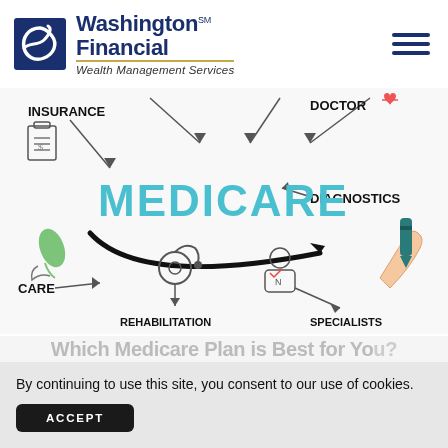Washington Financial℠ Wealth Management Services
[Figure (illustration): Medicare infographic showing a hand drawing the word MEDICARE in teal chalk-style letters, surrounded by labeled arrows pointing to: INSURANCE, DOCTOR, DIAGNOSTICS, CARE, REHABILITATION, SPECIALISTS, with icons including clipboard, stethoscope, nurse figure, leaf/hand]
Which Medicare Plan is Best for You?
By continuing to use this site, you consent to our use of cookies.
ACCEPT